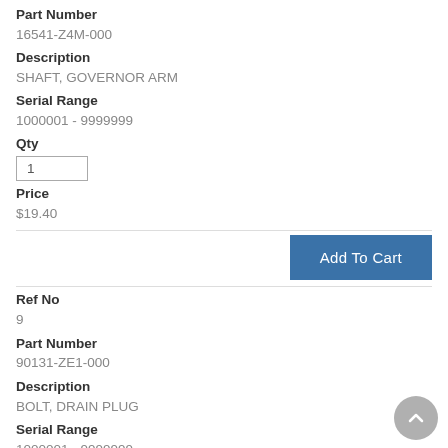Part Number
16541-Z4M-000
Description
SHAFT, GOVERNOR ARM
Serial Range
1000001 - 9999999
Qty
1
Price
$19.40
Ref No
9
Part Number
90131-ZE1-000
Description
BOLT, DRAIN PLUG
Serial Range
1000001 - 9999999